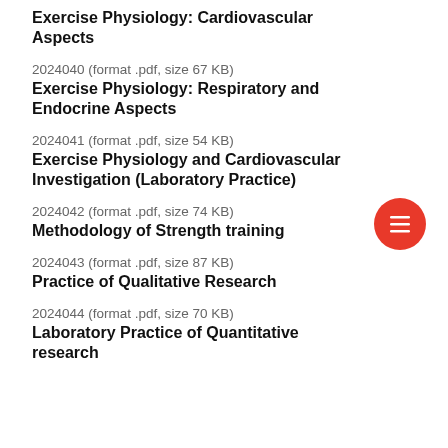Exercise Physiology: Cardiovascular Aspects
2024040 (format .pdf, size 67 KB)
Exercise Physiology: Respiratory and Endocrine Aspects
2024041 (format .pdf, size 54 KB)
Exercise Physiology and Cardiovascular Investigation (Laboratory Practice)
2024042 (format .pdf, size 74 KB)
Methodology of Strength training
2024043 (format .pdf, size 87 KB)
Practice of Qualitative Research
2024044 (format .pdf, size 70 KB)
Laboratory Practice of Quantitative research